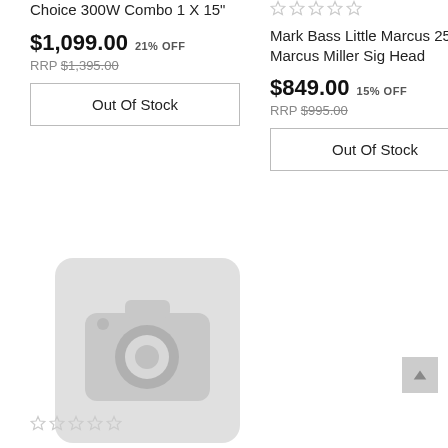Choice 300W Combo 1 X 15"
$1,099.00 21% OFF
RRP $1,395.00
Out Of Stock
Mark Bass Little Marcus 250 Marcus Miller Sig Head
$849.00 15% OFF
RRP $995.00
Out Of Stock
[Figure (illustration): Camera placeholder icon (no image available), light grey background with camera icon outline]
Star rating row (5 empty stars)